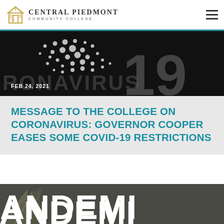Central Piedmont Community College
[Figure (photo): Dark background photo with coronavirus COVID-19 dots pattern and large '19' text overlay, dated FEB 24, 2021]
MESSAGE TO THE COLLEGE ON CORONAVIRUS: GOVERNOR COOPER EASES SOME COVID-19 RESTRICTIONS
[Figure (photo): Dark grey photo with partial building/structure graphic on left and large white 'PANDEMI...' text at bottom]